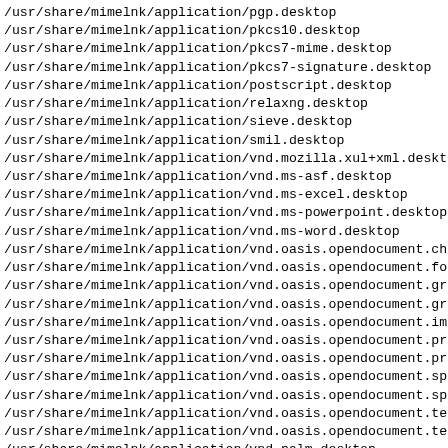/usr/share/mimelnk/application/pgp.desktop
/usr/share/mimelnk/application/pkcs10.desktop
/usr/share/mimelnk/application/pkcs7-mime.desktop
/usr/share/mimelnk/application/pkcs7-signature.desktop
/usr/share/mimelnk/application/postscript.desktop
/usr/share/mimelnk/application/relaxng.desktop
/usr/share/mimelnk/application/sieve.desktop
/usr/share/mimelnk/application/smil.desktop
/usr/share/mimelnk/application/vnd.mozilla.xul+xml.desktop
/usr/share/mimelnk/application/vnd.ms-asf.desktop
/usr/share/mimelnk/application/vnd.ms-excel.desktop
/usr/share/mimelnk/application/vnd.ms-powerpoint.desktop
/usr/share/mimelnk/application/vnd.ms-word.desktop
/usr/share/mimelnk/application/vnd.oasis.opendocument.cha
/usr/share/mimelnk/application/vnd.oasis.opendocument.for
/usr/share/mimelnk/application/vnd.oasis.opendocument.gra
/usr/share/mimelnk/application/vnd.oasis.opendocument.gra
/usr/share/mimelnk/application/vnd.oasis.opendocument.ima
/usr/share/mimelnk/application/vnd.oasis.opendocument.pre
/usr/share/mimelnk/application/vnd.oasis.opendocument.pre
/usr/share/mimelnk/application/vnd.oasis.opendocument.spr
/usr/share/mimelnk/application/vnd.oasis.opendocument.spr
/usr/share/mimelnk/application/vnd.oasis.opendocument.tex
/usr/share/mimelnk/application/vnd.oasis.opendocument.tex
/usr/share/mimelnk/application/vnd.palm.desktop
/usr/share/mimelnk/application/vnd.rn-realmedia.desktop
/usr/share/mimelnk/application/vnd.stardivision.calc.desk
/usr/share/mimelnk/application/vnd.stardivision.chart.des
/usr/share/mimelnk/application/vnd.stardivision.draw.desk
/usr/share/mimelnk/application/vnd.stardivision.impress.c